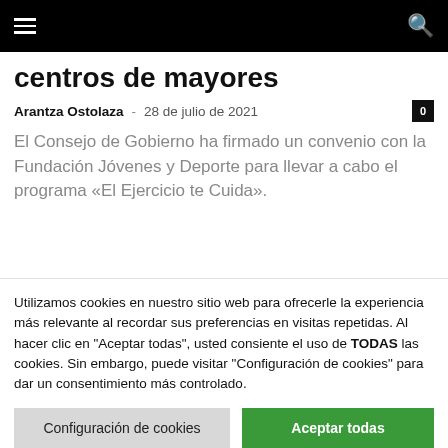≡ [hamburger menu] [search icon]
centros de mayores
Arantza Ostolaza - 28 de julio de 2021  0
El Consejo de Gobierno ha firmado un convenio con la Fundación Jóvenes y Deporte para llevar a cabo el programa «El Ejercicio te Cuida».
Utilizamos cookies en nuestro sitio web para ofrecerle la experiencia más relevante al recordar sus preferencias en visitas repetidas. Al hacer clic en "Aceptar todas", usted consiente el uso de TODAS las cookies. Sin embargo, puede visitar "Configuración de cookies" para dar un consentimiento más controlado.
Configuración de cookies
Aceptar todas
Cambiar Idioma »